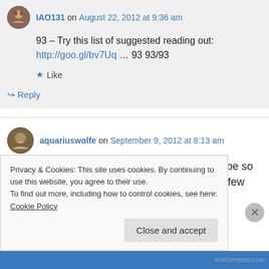IAO131 on August 22, 2012 at 9:36 am
93 – Try this list of suggested reading out: http://goo.gl/bv7Uq … 93 93/93
Like
Reply
aquariuswolfe on September 9, 2012 at 8:13 am
What is the significance of 93? If I may be so bold. I only happened upon this page a few
Privacy & Cookies: This site uses cookies. By continuing to use this website, you agree to their use. To find out more, including how to control cookies, see here: Cookie Policy
Close and accept